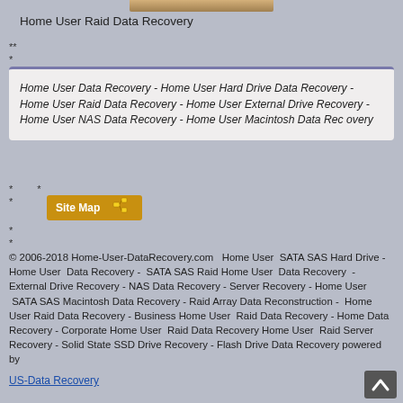[Figure (photo): Partial image at top of page, cropped]
Home User Raid Data Recovery
**
*
Home User  Data Recovery - Home User  Hard Drive Data Recovery - Home User Raid Data Recovery  - Home User External Drive Recovery - Home User  NAS Data Recovery - Home User  Macintosh Data Rec overy
*   *
*
[Figure (illustration): Site Map button with network icon]
*
*
© 2006-2018 Home-User-DataRecovery.com   Home User  SATA SAS Hard Drive - Home User  Data Recovery -  SATA SAS Raid Home User  Data Recovery  - External Drive Recovery - NAS Data Recovery - Server Recovery - Home User  SATA SAS Macintosh Data Recovery - Raid Array Data Reconstruction -  Home User Raid Data Recovery - Business Home User  Raid Data Recovery - Home Data Recovery - Corporate Home User  Raid Data Recovery Home User  Raid Server Recovery - Solid State SSD Drive Recovery - Flash Drive Data Recovery powered by
US-Data Recovery